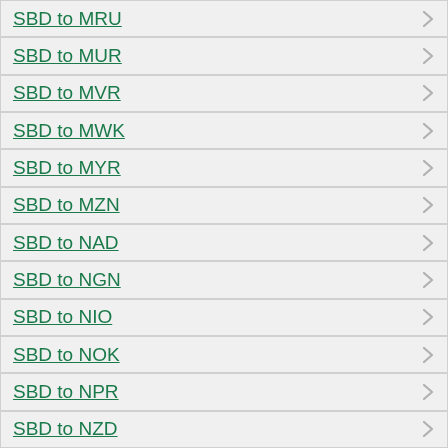SBD to MRU
SBD to MUR
SBD to MVR
SBD to MWK
SBD to MYR
SBD to MZN
SBD to NAD
SBD to NGN
SBD to NIO
SBD to NOK
SBD to NPR
SBD to NZD